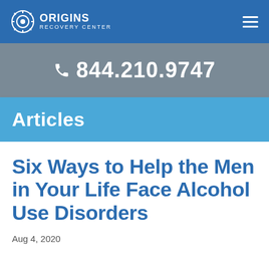ORIGINS RECOVERY CENTER
844.210.9747
Articles
Six Ways to Help the Men in Your Life Face Alcohol Use Disorders
Aug 4, 2020